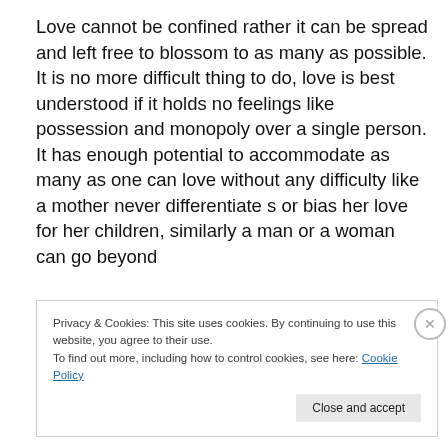Love cannot be confined rather it can be spread and left free to blossom to as many as possible. It is no more difficult thing to do, love is best understood if it holds no feelings like possession and monopoly over a single person. It has enough potential to accommodate as many as one can love without any difficulty like a mother never differentiate s or bias her love for her children, similarly a man or a woman can go beyond
Privacy & Cookies: This site uses cookies. By continuing to use this website, you agree to their use.
To find out more, including how to control cookies, see here: Cookie Policy